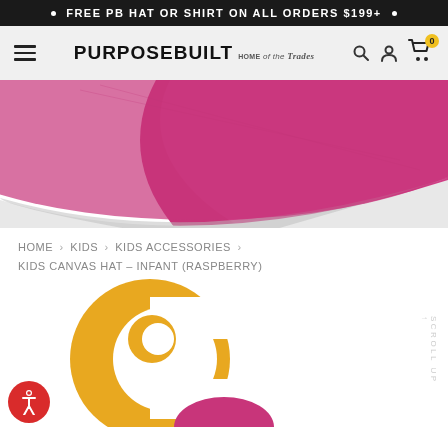FREE PB HAT OR SHIRT ON ALL ORDERS $199+
[Figure (screenshot): PurposeBuilt website navigation bar with hamburger menu, logo reading PURPOSEBUILT HOME of the Trades, search icon, user icon, and cart icon with 0 badge]
[Figure (photo): Partial view of a raspberry/pink colored canvas hat from above]
HOME > KIDS > KIDS ACCESSORIES > KIDS CANVAS HAT – INFANT (RASPBERRY)
[Figure (logo): Carhartt C logo in golden/amber yellow color, partially visible]